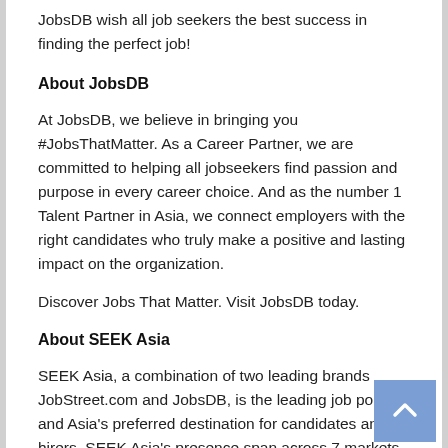JobsDB wish all job seekers the best success in finding the perfect job!
About JobsDB
At JobsDB, we believe in bringing you #JobsThatMatter. As a Career Partner, we are committed to helping all jobseekers find passion and purpose in every career choice. And as the number 1 Talent Partner in Asia, we connect employers with the right candidates who truly make a positive and lasting impact on the organization.
Discover Jobs That Matter. Visit JobsDB today.
About SEEK Asia
SEEK Asia, a combination of two leading brands JobStreet.com and JobsDB, is the leading job portal and Asia's preferred destination for candidates and hirers. SEEK Asia's presence span across 7 markets namely